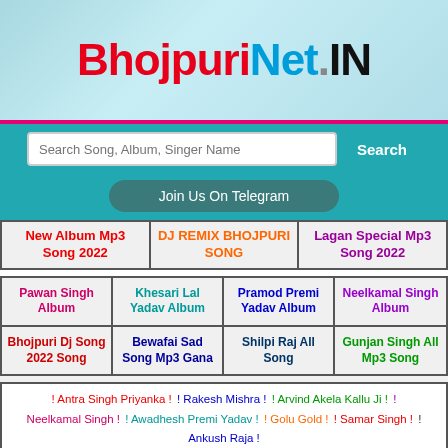[Figure (logo): BhojpuriNet.IN logo with colorful text on teal/light blue background with decorative elements]
Search Song, Album, Singer Name
Search
Join Us On Telegram
New Album Mp3 Song 2022
DJ REMIX BHOJPURI SONG
Lagan Special Mp3 Song 2022
Pawan Singh Album
Khesari Lal Yadav Album
Pramod Premi Yadav Album
Neelkamal Singh Album
Bhojpuri Dj Song 2022 Song
Bewafai Sad Song Mp3 Gana
Shilpi Raj All Song
Gunjan Singh All Mp3 Song
! Antra Singh Priyanka ! ! Rakesh Mishra ! ! Arvind Akela Kallu Ji ! ! Neelkamal Singh ! ! Awadhesh Premi Yadav ! ! Golu Gold ! ! Samar Singh ! ! Ankush Raja !
New Latest Video Updates
[Figure (photo): Video thumbnail showing a couple, partial view]